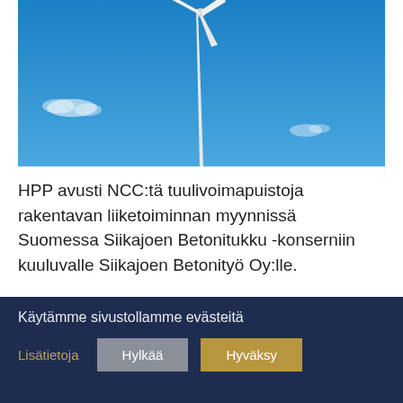[Figure (photo): A white wind turbine against a bright blue sky with a few wispy clouds]
HPP avusti NCC:tä tuulivoimapuistoja rakentavan liiketoiminnan myynnissä Suomessa Siikajoen Betonitukku -konserniin kuuluvalle Siikajoen Betonityö Oy:lle.
[Figure (illustration): LinkedIn and Facebook social media icon circles]
Käytämme sivustollamme evästeitä
Lisätietoja  Hylkää  Hyväksy